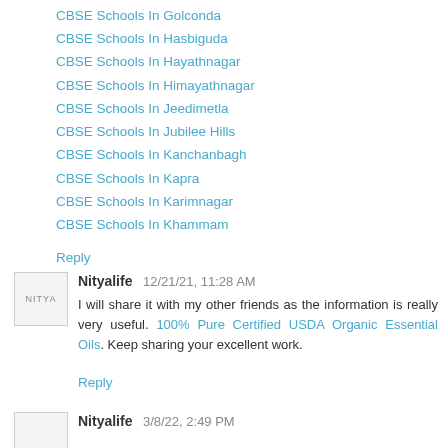CBSE Schools In Golconda
CBSE Schools In Hasbiguda
CBSE Schools In Hayathnagar
CBSE Schools In Himayathnagar
CBSE Schools In Jeedimetla
CBSE Schools In Jubilee Hills
CBSE Schools In Kanchanbagh
CBSE Schools In Kapra
CBSE Schools In Karimnagar
CBSE Schools In Khammam
Reply
Nityalife  12/21/21, 11:28 AM
I will share it with my other friends as the information is really very useful. 100% Pure Certified USDA Organic Essential Oils. Keep sharing your excellent work.
Reply
Nityalife  3/8/22, 2:49 PM